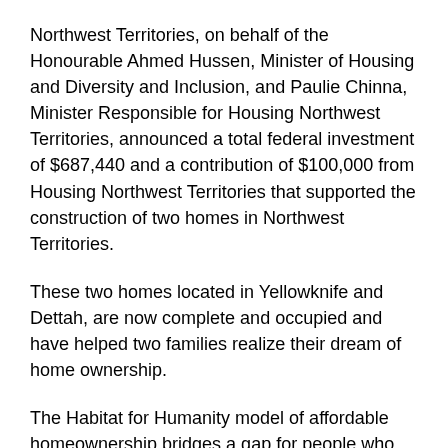Northwest Territories, on behalf of the Honourable Ahmed Hussen, Minister of Housing and Diversity and Inclusion, and Paulie Chinna, Minister Responsible for Housing Northwest Territories, announced a total federal investment of $687,440 and a contribution of $100,000 from Housing Northwest Territories that supported the construction of two homes in Northwest Territories.
These two homes located in Yellowknife and Dettah, are now complete and occupied and have helped two families realize their dream of home ownership.
The Habitat for Humanity model of affordable homeownership bridges a gap for people who face barriers to homeownership and would not otherwise qualify for a traditional mortgage. Local Habitat for Humanity organizations in every province and territory across Canada